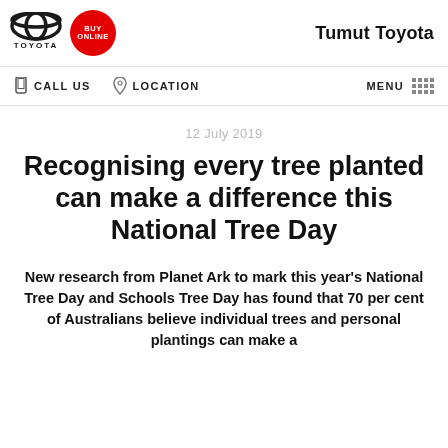Tumut Toyota
CALL US   LOCATION   MENU
12 July 2019
Recognising every tree planted can make a difference this National Tree Day
New research from Planet Ark to mark this year's National Tree Day and Schools Tree Day has found that 70 per cent of Australians believe individual trees and personal plantings can make a